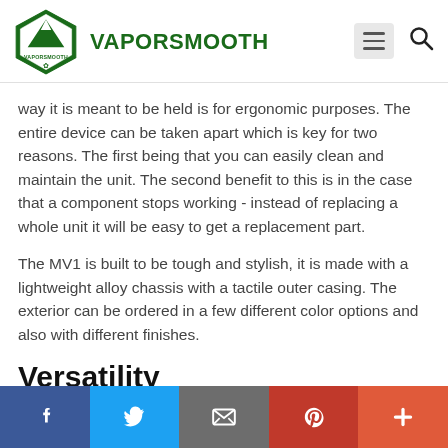VAPORSMOOTH
way it is meant to be held is for ergonomic purposes. The entire device can be taken apart which is key for two reasons. The first being that you can easily clean and maintain the unit. The second benefit to this is in the case that a component stops working - instead of replacing a whole unit it will be easy to get a replacement part.
The MV1 is built to be tough and stylish, it is made with a lightweight alloy chassis with a tactile outer casing. The exterior can be ordered in a few different color options and also with different finishes.
Versatility